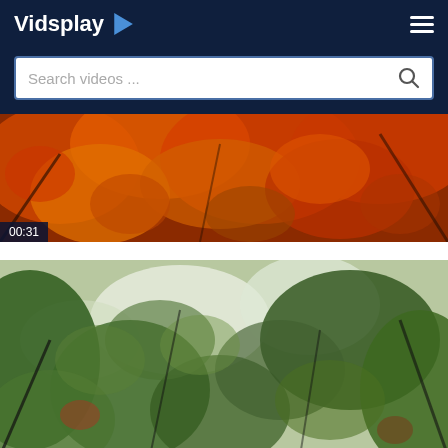Vidsplay
Search videos ...
[Figure (photo): Autumn maple leaves in orange and red colors, video thumbnail with duration badge 00:31]
[Figure (photo): Green forest canopy looking up through tree leaves with some autumn reds, video thumbnail]